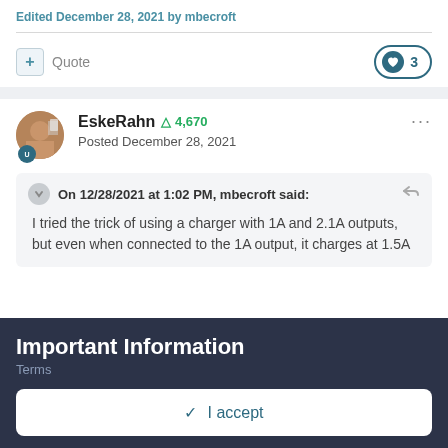Edited December 28, 2021 by mbecroft
Quote   3
EskeRahn  4,670
Posted December 28, 2021
On 12/28/2021 at 1:02 PM, mbecroft said:
I tried the trick of using a charger with 1A and 2.1A outputs, but even when connected to the 1A output, it charges at 1.5A
Important Information
Terms
✓  I accept